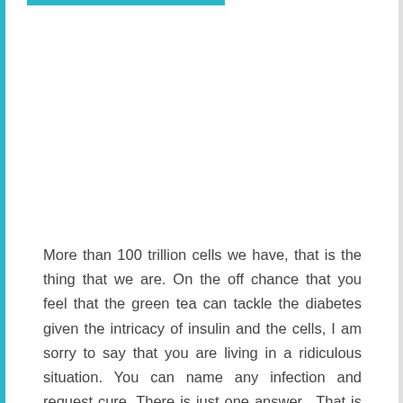More than 100 trillion cells we have, that is the thing that we are. On the off chance that you feel that the green tea can tackle the diabetes given the intricacy of insulin and the cells, I am sorry to say that you are living in a ridiculous situation. You can name any infection and request cure. There is just one answer. That is the sustenance. Particularly sustenance wealthy in cancer prevention agent is